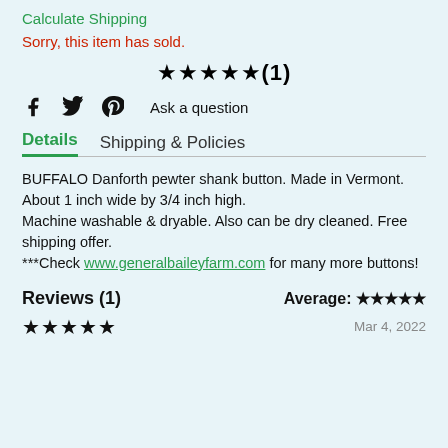Calculate Shipping
Sorry, this item has sold.
★★★★★(1)
Facebook  Twitter  Pinterest  Ask a question
Details  Shipping & Policies
BUFFALO Danforth pewter shank button. Made in Vermont. About 1 inch wide by 3/4 inch high.
Machine washable & dryable. Also can be dry cleaned. Free shipping offer.
***Check www.generalbaileyfarm.com for many more buttons!
Reviews (1)
Average: ★★★★★
★★★★★
Mar 4, 2022